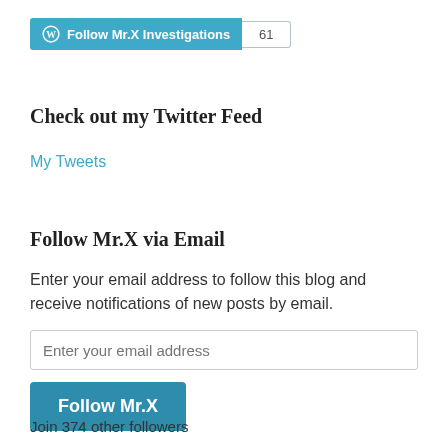[Figure (other): WordPress Follow button widget showing 'Follow Mr.X Investigations' with count badge '61']
Check out my Twitter Feed
My Tweets
Follow Mr.X via Email
Enter your email address to follow this blog and receive notifications of new posts by email.
[Figure (other): Email input field with placeholder 'Enter your email address']
[Figure (other): Button labeled 'Follow Mr.X']
Join 374 other followers